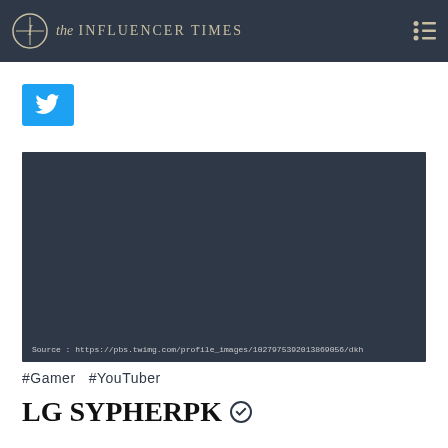the INFLUENCER TIMES
#Gamer #YouTuber
[Figure (photo): Dark placeholder image block with source URL at bottom: Source : https://pbs.twimg.com/profile_images/1027975392013869056/dkh]
Source : https://pbs.twimg.com/profile_images/1027975392013869056/dkh
LG SypherPK ✪